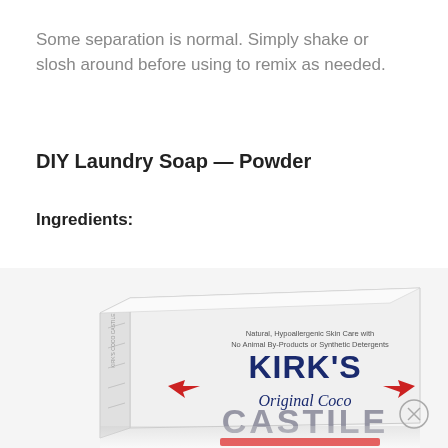Some separation is normal. Simply shake or slosh around before using to remix as needed.
DIY Laundry Soap — Powder
Ingredients:
[Figure (photo): A bar of Kirk's Original Coco Castile soap in white packaging. The packaging reads: 'Natural, Hypoallergenic Skin Care with No Animal By-Products or Synthetic Detergents' and 'KIRK'S Original Coco CASTILE' with red arrow decorations. The bar is shown at an angle.]